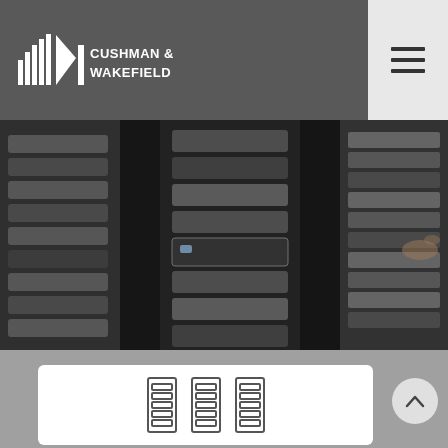[Figure (logo): Cushman & Wakefield logo in white on dark gray header]
[Figure (photo): Data center server racks with person's hand accessing equipment, dark tones]
[Figure (illustration): Three server rack icons (outline style) on white card]